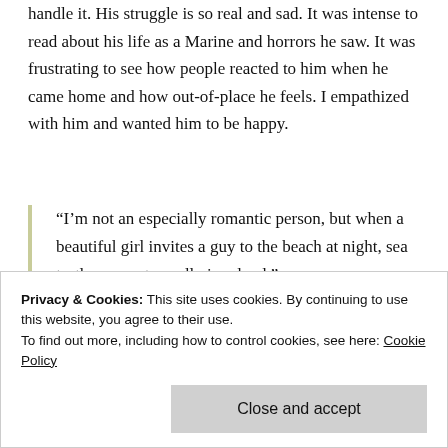handle it. His struggle is so real and sad. It was intense to read about his life as a Marine and horrors he saw. It was frustrating to see how people reacted to him when he came home and how out-of-place he feels. I empathized with him and wanted him to be happy.
“I’m not an especially romantic person, but when a beautiful girl invites a guy to the beach at night, sea turtles are not usually involved.”
Privacy & Cookies: This site uses cookies. By continuing to use this website, you agree to their use. To find out more, including how to control cookies, see here: Cookie Policy